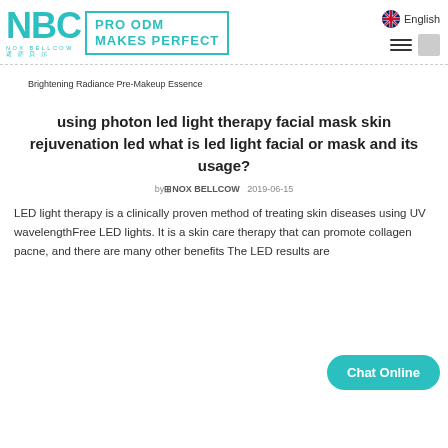NBC NOX BELLCOW PRO ODM MAKES PERFECT | English
Brightening Radiance Pre-Makeup Essence
using photon led light therapy facial mask skin rejuvenation led what is led light facial or mask and its usage?
by NOX BELLCOW   2019-06-15
LED light therapy is a clinically proven method of treating skin diseases using UV wavelengthFree LED lights. It is a skin care therapy that can promote collagen p... acne, and there are many other benefits The LED results are...
Chat Online